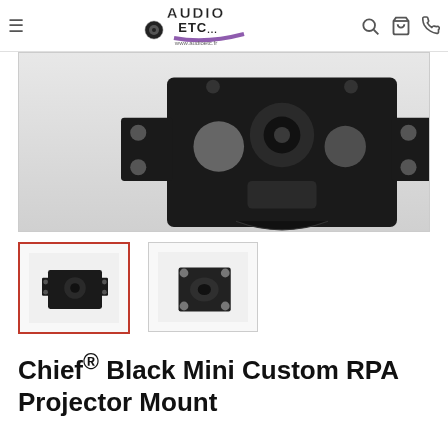Audio ETC - www.audioetc.fr
[Figure (photo): Large product photo of Chief Black Mini Custom RPA Projector Mount, showing a black metal ceiling projector mount bracket from above at an angle, on white/grey background]
[Figure (photo): Thumbnail 1: Front-angled view of the black projector mount, selected (red border)]
[Figure (photo): Thumbnail 2: Top-down angled view of the black projector mount]
Chief® Black Mini Custom RPA Projector Mount